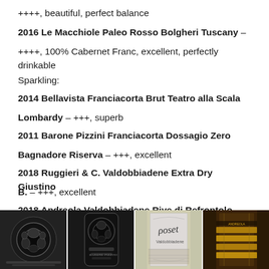++++, beautiful, perfect balance
2016 Le Macchiole Paleo Rosso Bolgheri Tuscany – ++++, 100% Cabernet Franc, excellent, perfectly drinkable
Sparkling:
2014 Bellavista Franciacorta Brut Teatro alla Scala Lombardy – +++, superb
2011 Barone Pizzini Franciacorta Dossagio Zero Bagnadore Riserva – +++, excellent
2018 Ruggieri & C. Valdobbiadene Extra Dry Giustino B. – +++, excellent
2018 Andreola Valdobbiadene Rive di Refrontolo Brut Col Del Forno – +++, excellent
[Figure (photo): Four wine bottle top/label close-up photos arranged in a horizontal strip at the bottom of the page]